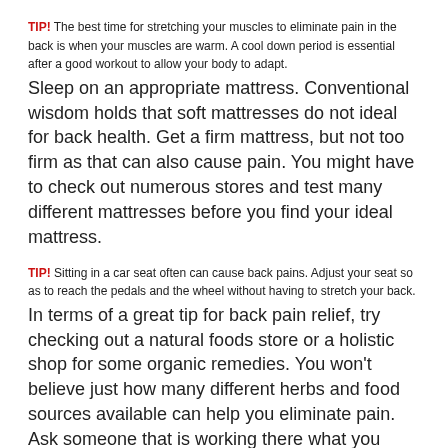TIP! The best time for stretching your muscles to eliminate pain in the back is when your muscles are warm. A cool down period is essential after a good workout to allow your body to adapt.
Sleep on an appropriate mattress. Conventional wisdom holds that soft mattresses do not ideal for back health. Get a firm mattress, but not too firm as that can also cause pain. You might have to check out numerous stores and test many different mattresses before you find your ideal mattress.
TIP! Sitting in a car seat often can cause back pains. Adjust your seat so as to reach the pedals and the wheel without having to stretch your back.
In terms of a great tip for back pain relief, try checking out a natural foods store or a holistic shop for some organic remedies. You won't believe just how many different herbs and food sources available can help you eliminate pain. Ask someone that is working there what you could take for your lower back discomfort.
TIP! Cease your smoking. Like so many other health conditions,